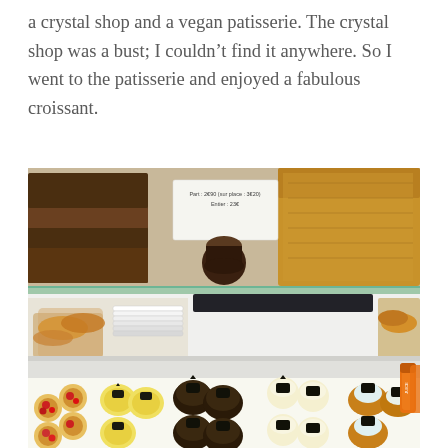a crystal shop and a vegan patisserie. The crystal shop was a bust; I couldn't find it anywhere. So I went to the patisserie and enjoyed a fabulous croissant.
[Figure (photo): Interior of a vegan patisserie showing a glass display case with multiple shelves. The top shelf has large loaves of bread and a small price sign card. The middle area shows plates, pastries, and croissants. The bottom display shows rows of colorful pastries and petit fours: fruit tarts with red berries on the left, yellow lemon tarts with chocolate decorations, chocolate glazed pastries in the middle, cream-topped cupcakes, and choux pastries on the right. Orange juice bottles are visible on the far right.]